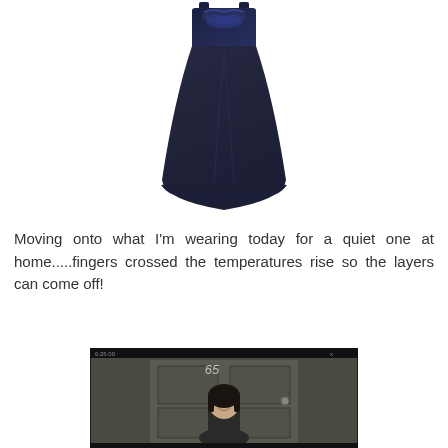[Figure (photo): Product photo of a long dark navy/black maxi dress with lace or embroidered top detail and tassel tie, shown on white background]
Moving onto what I'm wearing today for a quiet one at home.....fingers crossed the temperatures rise so the layers can come off!
[Figure (screenshot): Screenshot of a video player showing a woman with dark bob haircut standing at a front door, number 65 visible above, dark interface with timestamp shown]